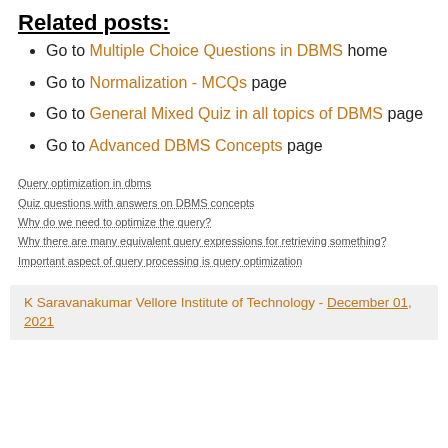Related posts:
Go to Multiple Choice Questions in DBMS home
Go to Normalization - MCQs page
Go to General Mixed Quiz in all topics of DBMS page
Go to Advanced DBMS Concepts page
Query optimization in dbms
Quiz questions with answers on DBMS concepts
Why do we need to optimize the query?
Why there are many equivalent query expressions for retrieving something?
Important aspect of query processing is query optimization
K Saravanakumar Vellore Institute of Technology - December 01, 2021